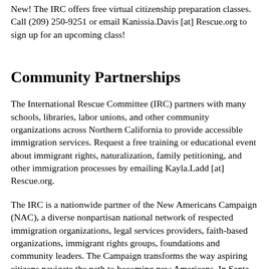New! The IRC offers free virtual citizenship preparation classes. Call (209) 250-9251 or email Kanissia.Davis [at] Rescue.org to sign up for an upcoming class!
Community Partnerships
The International Rescue Committee (IRC) partners with many schools, libraries, labor unions, and other community organizations across Northern California to provide accessible immigration services. Request a free training or educational event about immigrant rights, naturalization, family petitioning, and other immigration processes by emailing Kayla.Ladd [at] Rescue.org.
The IRC is a nationwide partner of the New Americans Campaign (NAC), a diverse nonpartisan national network of respected immigration organizations, legal services providers, faith-based organizations, immigrant rights groups, foundations and community leaders. The Campaign transforms the way aspiring citizens navigate the path to becoming new Americans. In Santa Clara County, the NAC collaborative members include: Asian Law Alliance; Center for Employment Training (CET); International Rescue Committee (IRC); International Institute of the Bay Area;